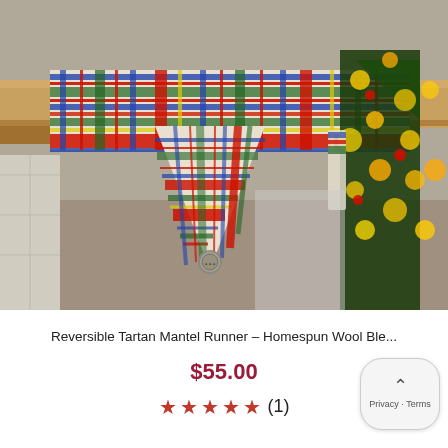[Figure (photo): A tartan plaid table/mantel runner with red, blue, green, yellow and white pattern draped over a wooden shelf edge, hanging down in a triangular point with a decorative medallion badge. Behind it is a Christmas tree with bokeh lights and red decorations.]
Reversible Tartan Mantel Runner – Homespun Wool Ble...
$55.00
★★★★★ (1)